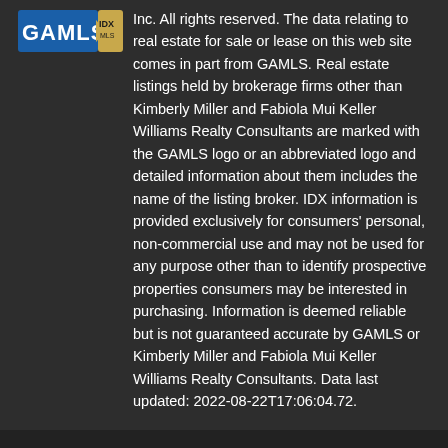[Figure (logo): GAMLS IDX logo — blue and gold text on dark background]
Inc. All rights reserved. The data relating to real estate for sale or lease on this web site comes in part from GAMLS. Real estate listings held by brokerage firms other than Kimberly Miller and Fabiola Mui Keller Williams Realty Consultants are marked with the GAMLS logo or an abbreviated logo and detailed information about them includes the name of the listing broker. IDX information is provided exclusively for consumers' personal, non-commercial use and may not be used for any purpose other than to identify prospective properties consumers may be interested in purchasing. Information is deemed reliable but is not guaranteed accurate by GAMLS or Kimberly Miller and Fabiola Mui Keller Williams Realty Consultants. Data last updated: 2022-08-22T17:06:04.72.
BoomTown! © 2022 Terms of Use | Privacy Policy | Accessibility | DMCA | Listings Sitemap
Take a Tour
Ask A Question